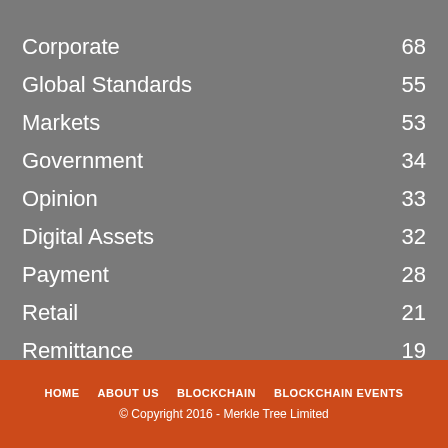Corporate 68
Global Standards 55
Markets 53
Government 34
Opinion 33
Digital Assets 32
Payment 28
Retail 21
Remittance 19
HOME   ABOUT US   BLOCKCHAIN   BLOCKCHAIN EVENTS
© Copyright 2016 - Merkle Tree Limited